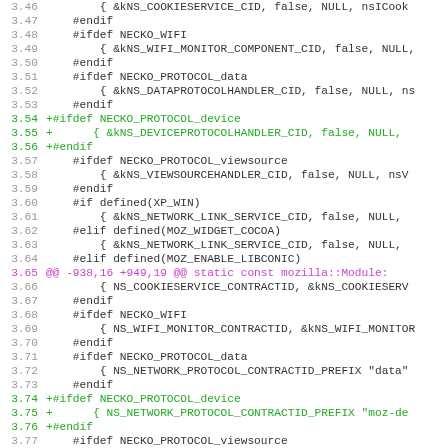[Figure (screenshot): Code diff view showing C++ source file lines 3.46 to 3.77 with line numbers in gray, added lines in green, and a diff hunk header in magenta. Content shows preprocessor directives and component registration entries for Mozilla Necko networking module.]